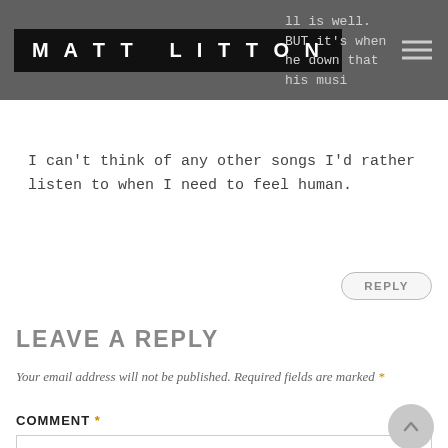MATT LITTON
ll is well. BUT it's when he down that his music and words really works it's magic.
I can't think of any other songs I'd rather listen to when I need to feel human.
LEAVE A REPLY
Your email address will not be published. Required fields are marked *
COMMENT *